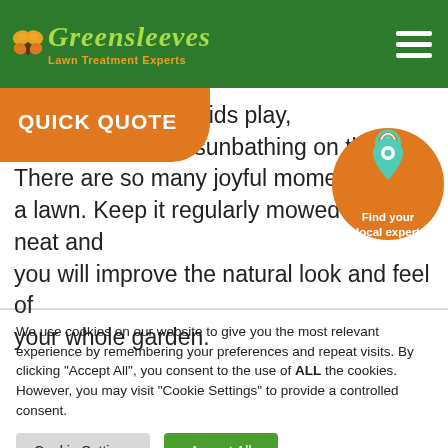[Figure (logo): Greensleeves Lawn Treatment Experts logo with butterfly and green/orange text on dark green header background]
QUICK QUOTE
[Figure (infographic): Orange circle with map pin icon and text 'Find your local expert']
ths. Watching the kids play, or lying back and sunbathing on the. There are so many joyful moments to a lawn. Keep it regularly mowed and neat and you will improve the natural look and feel of your whole garden.
We use cookies on our website to give you the most relevant experience by remembering your preferences and repeat visits. By clicking "Accept All", you consent to the use of ALL the cookies. However, you may visit "Cookie Settings" to provide a controlled consent.
Cookie Settings
Accept All